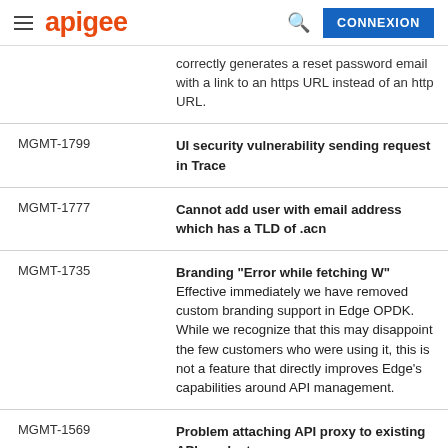apigee — CONNEXION
| ID | Description |
| --- | --- |
|  | correctly generates a reset password email with a link to an https URL instead of an http URL. |
| MGMT-1799 | UI security vulnerability sending request in Trace |
| MGMT-1777 | Cannot add user with email address which has a TLD of .acn |
| MGMT-1735 | Branding "Error while fetching W" Effective immediately we have removed custom branding support in Edge OPDK. While we recognize that this may disappoint the few customers who were using it, this is not a feature that directly improves Edge's capabilities around API management. |
| MGMT-1569 | Problem attaching API proxy to existing API product Fixed attaching an API Proxy to an API product in the Management UI, how the API |